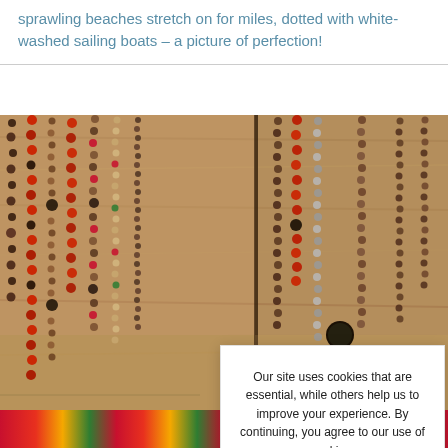sprawling beaches stretch on for miles, dotted with white-washed sailing boats – a picture of perfection!
[Figure (photo): Photo of colorful beaded necklaces hanging vertically on a weathered wooden background, with multiple strands including red, brown, black, green and silver beads arranged in columns]
Our site uses cookies that are essential, while others help us to improve your experience. By continuing, you agree to our use of cookies.
Read our Cookie and Privacy Policy
Dismiss
Got it!